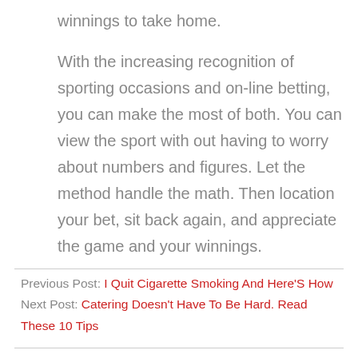winnings to take home.
With the increasing recognition of sporting occasions and on-line betting, you can make the most of both. You can view the sport with out having to worry about numbers and figures. Let the method handle the math. Then location your bet, sit back again, and appreciate the game and your winnings.
Previous Post: I Quit Cigarette Smoking And Here'S How
Next Post: Catering Doesn't Have To Be Hard. Read These 10 Tips